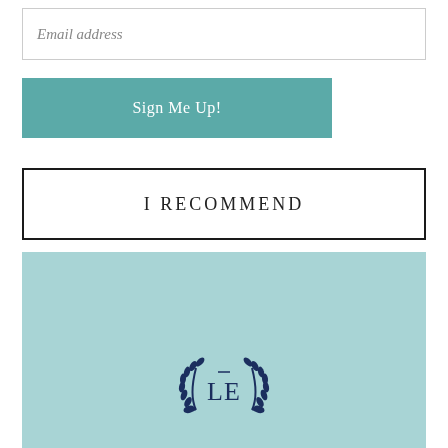Email address
Sign Me Up!
I RECOMMEND
[Figure (logo): Teal background block with a navy blue monogram logo featuring letters LE inside a laurel wreath crest]